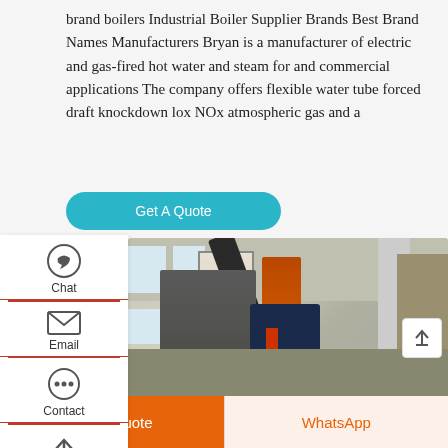brand boilers Industrial Boiler Supplier Brands Best Brand Names Manufacturers Bryan is a manufacturer of electric and gas-fired hot water and steam for and commercial applications The company offers flexible water tube forced draft knockdown lox NOx atmospheric gas and a
[Figure (screenshot): Get A Quote button (teal/cyan rounded rectangle) with sidebar navigation icons (Chat, Email, Contact, up-arrow) on white background panel on left]
[Figure (photo): Industrial boiler room interior showing large boiler unit with black exhaust pipe/chimney, orange cylindrical tank, blue burner assembly, white panel sections, and industrial equipment in background]
[Figure (screenshot): Bottom navigation bar with orange 'Get a Quote' button on left and light orange 'WhatsApp' button on right]